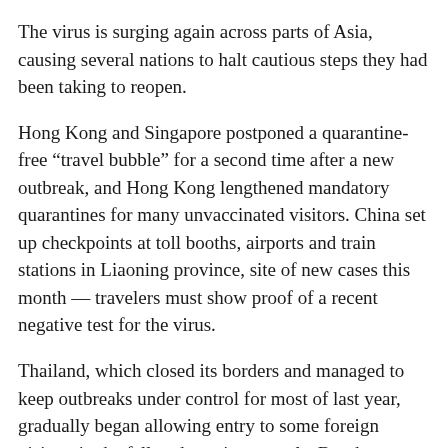The virus is surging again across parts of Asia, causing several nations to halt cautious steps they had been taking to reopen.
Hong Kong and Singapore postponed a quarantine-free “travel bubble” for a second time after a new outbreak, and Hong Kong lengthened mandatory quarantines for many unvaccinated visitors. China set up checkpoints at toll booths, airports and train stations in Liaoning province, site of new cases this month — travelers must show proof of a recent negative test for the virus.
Thailand, which closed its borders and managed to keep outbreaks under control for most of last year, gradually began allowing entry to some foreign visitors in the fall under strict controls. But the country reversed course when it became overwhelmed by its worst outbreak in late March.
Bangkok closed entertainment venues and parks, ordered more people to work from home, and banned outdoor…